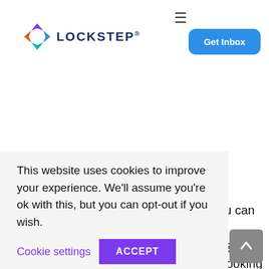[Figure (logo): Lockstep logo with colorful X icon and bold dark blue LOCKSTEP text with registered trademark symbol]
≡
Get Inbox
merchant to help manage credit card payments. There are rules on how you can store your customer's credit card information and more. If these rules aren't followed, more fees can incur. When looking for a B2B credit card payment one who is
This website uses cookies to improve your experience. We'll assume you're ok with this, but you can opt-out if you wish.
Cookie settings
ACCEPT
card payments if you end up creating more work for